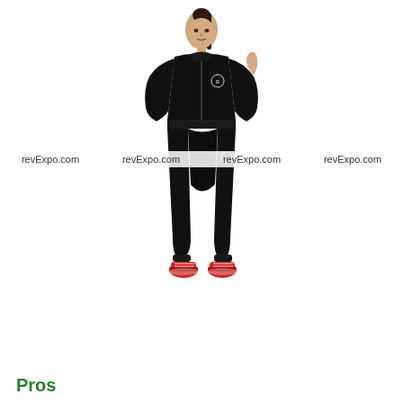[Figure (photo): A woman wearing a black tracksuit (zip-up jacket and jogger pants) with red sneakers, posing against a white background. The brand logo appears on both the jacket and pants. Multiple 'revExpo.com' watermarks appear horizontally across the image.]
Pros